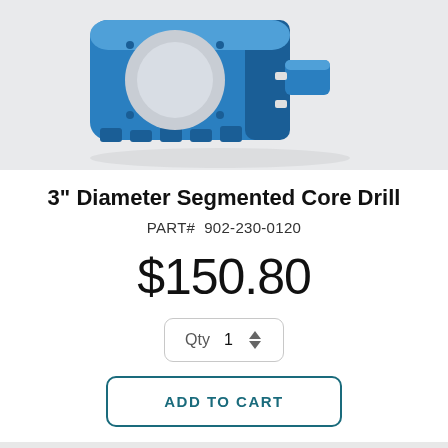[Figure (photo): Close-up photo of a blue 3-inch diameter segmented core drill bit against a light gray background]
3" Diameter Segmented Core Drill
PART#  902-230-0120
$150.80
Qty  1
ADD TO CART